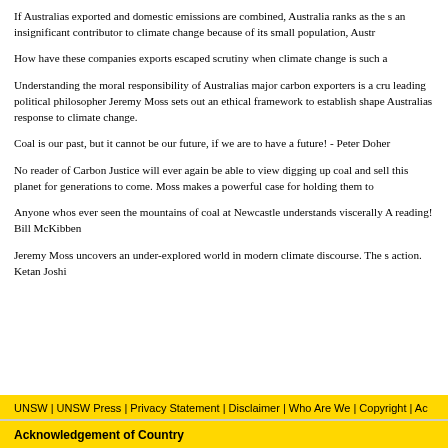If Australias exported and domestic emissions are combined, Australia ranks as the s... an insignificant contributor to climate change because of its small population, Austr...
How have these companies exports escaped scrutiny when climate change is such a...
Understanding the moral responsibility of Australias major carbon exporters is a cru... leading political philosopher Jeremy Moss sets out an ethical framework to establish... shape Australias response to climate change.
Coal is our past, but it cannot be our future, if we are to have a future! - Peter Doher...
No reader of Carbon Justice will ever again be able to view digging up coal and sell... this planet for generations to come. Moss makes a powerful case for holding them to...
Anyone whos ever seen the mountains of coal at Newcastle understands viscerally A... reading! Bill McKibben
Jeremy Moss uncovers an under-explored world in modern climate discourse. The s... action. Ketan Joshi
UNSW | UNSW Press | Privacy Statement | Disclaimer | Who Are We | Copyright | Ac...
Acknowledgement of Country